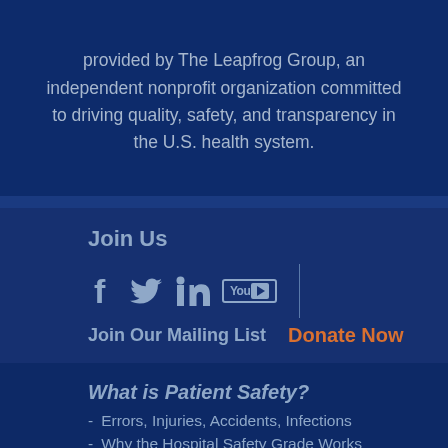provided by The Leapfrog Group, an independent nonprofit organization committed to driving quality, safety, and transparency in the U.S. health system.
Join Us
[Figure (illustration): Social media icons: Facebook, Twitter, LinkedIn, YouTube with a vertical divider line]
Join Our Mailing List    Donate Now
What is Patient Safety?
Errors, Injuries, Accidents, Infections
Why the Hospital Safety Grade Works
Your Hospital's Safety Grade